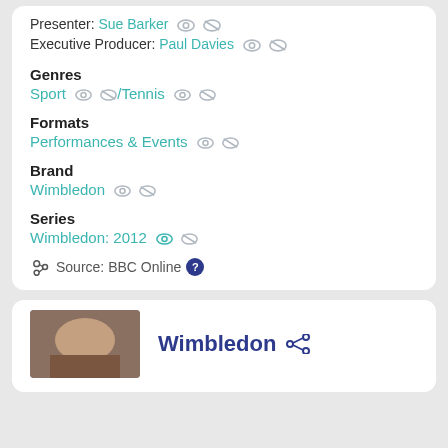Presenter: Sue Barker
Executive Producer: Paul Davies
Genres
Sport / Tennis
Formats
Performances & Events
Brand
Wimbledon
Series
Wimbledon: 2012
Source: BBC Online
Wimbledon